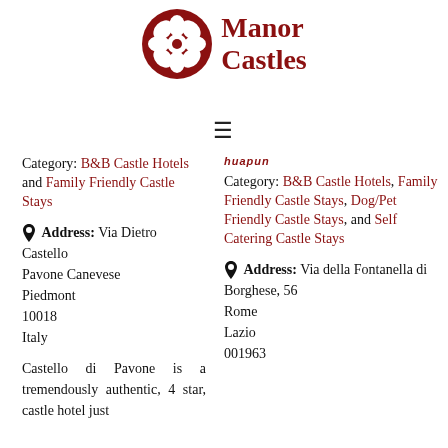[Figure (logo): Manor Castles logo with red circular flower emblem and bold red serif text]
[Figure (other): Hamburger menu icon (three horizontal lines)]
huapun
Category: B&B Castle Hotels and Family Friendly Castle Stays
Address: Via Dietro Castello
Pavone Canevese
Piedmont
10018
Italy
Castello di Pavone is a tremendously authentic, 4 star, castle hotel just
Category: B&B Castle Hotels, Family Friendly Castle Stays, Dog/Pet Friendly Castle Stays, and Self Catering Castle Stays
Address: Via della Fontanella di Borghese, 56
Rome
Lazio
001963